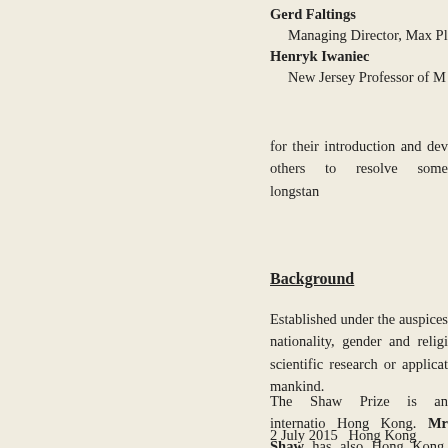Gerd Faltings
    Managing Director, Max Pl
Henryk Iwaniec
    New Jersey Professor of M
for their introduction and dev others to resolve some longstan
Background
Established under the auspices nationality, gender and religi scientific research or applicat mankind.
The Shaw Prize is an internatio Hong Kong. Mr Shaw has also Hong Kong, both dedicated to welfare services, and culture an
2 July 2015   Hong Kong (Rev